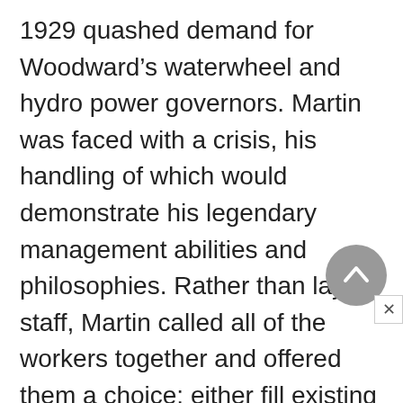1929 quashed demand for Woodward's waterwheel and hydro power governors. Martin was faced with a crisis, his handling of which would demonstrate his legendary management abilities and philosophies. Rather than lay off staff, Martin called all of the workers together and offered them a choice: either fill existing orders and hope for more, or keep everyone on the payroll at 20 hours per week and at a cut in pay until business improved. The